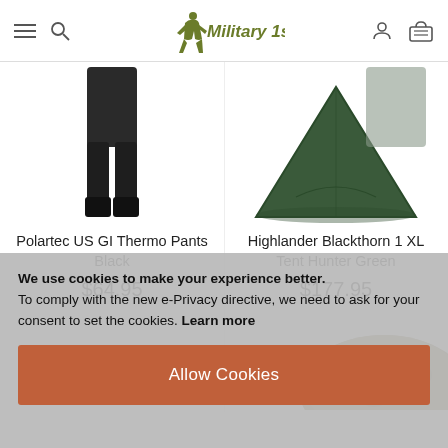Military 1st
[Figure (photo): Polartec US GI Thermo Pants Black - product image showing dark pants]
Polartec US GI Thermo Pants Black
$64.95
[Figure (photo): Highlander Blackthorn 1 XL Tent Hunter Green - product image showing green tent]
Highlander Blackthorn 1 XL Tent Hunter Green
$177.95
[Figure (photo): Partial view of a camouflage bag/backpack product]
We use cookies to make your experience better. To comply with the new e-Privacy directive, we need to ask for your consent to set the cookies. Learn more
Allow Cookies